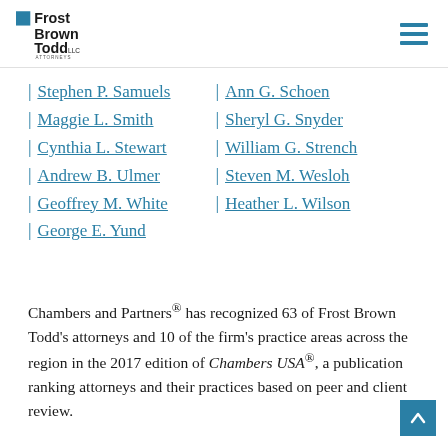Frost Brown Todd LLC Attorneys
| Stephen P. Samuels | Ann G. Schoen
| Maggie L. Smith | Sheryl G. Snyder
| Cynthia L. Stewart | William G. Strench
| Andrew B. Ulmer | Steven M. Wesloh
| Geoffrey M. White | Heather L. Wilson
| George E. Yund
Chambers and Partners® has recognized 63 of Frost Brown Todd's attorneys and 10 of the firm's practice areas across the region in the 2017 edition of Chambers USA®, a publication ranking attorneys and their practices based on peer and client review.